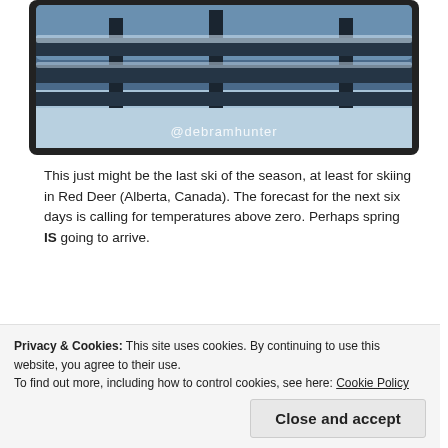[Figure (photo): A winter photo of a wooden fence covered in snow, with blue-tinted tones. Watermark text '@debramhunter' visible at the bottom center of the image. Photo has a thick black border with rounded corners.]
This just might be the last ski of the season, at least for skiing in Red Deer (Alberta, Canada). The forecast for the next six days is calling for temperatures above zero. Perhaps spring IS going to arrive.
[Figure (photo): A partially visible winter landscape photo with blue-tinted tones showing snow-covered trees. Photo has a thick black border with rounded corners. Only the top portion is visible.]
Privacy & Cookies: This site uses cookies. By continuing to use this website, you agree to their use.
To find out more, including how to control cookies, see here: Cookie Policy